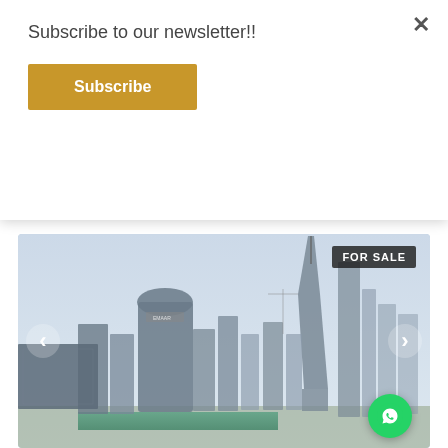Subscribe to our newsletter!!
Subscribe
Apartment For Sale in Burj Khalifa Area | Check The Best...
AED 1,300,000   1+ Maid   2   888
[Figure (photo): Dubai skyline with Burj Khalifa and surrounding skyscrapers, FOR SALE badge in top right corner, navigation arrows on both sides, WhatsApp button bottom right]